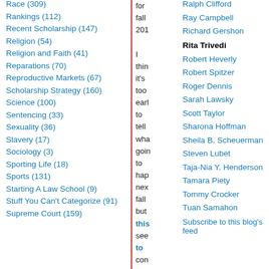Race (309)
Rankings (112)
Recent Scholarship (147)
Religion (54)
Religion and Faith (41)
Reparations (70)
Reproductive Markets (67)
Scholarship Strategy (160)
Science (100)
Sentencing (33)
Sexuality (36)
Slavery (17)
Sociology (3)
Sporting Life (18)
Sports (131)
Starting A Law School (9)
Stuff You Can't Categorize (91)
Supreme Court (159)
for fall 201 I thin it's too earl to tell wha goin to hap nex fall but this see to con my
Ralph Clifford
Ray Campbell
Richard Gershon
Rita Trivedi
Robert Heverly
Robert Spitzer
Roger Dennis
Sarah Lawsky
Scott Taylor
Sharona Hoffman
Sheila B. Scheuerman
Steven Lubet
Taja-Nia Y. Henderson
Tamara Piety
Tommy Crocker
Tuan Samahon
Subscribe to this blog's feed